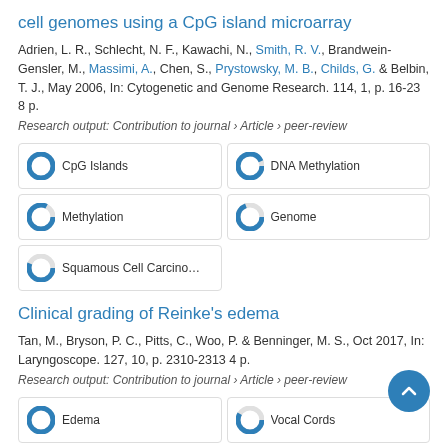cell genomes using a CpG island microarray
Adrien, L. R., Schlecht, N. F., Kawachi, N., Smith, R. V., Brandwein-Gensler, M., Massimi, A., Chen, S., Prystowsky, M. B., Childs, G. & Belbin, T. J., May 2006, In: Cytogenetic and Genome Research. 114, 1, p. 16-23 8 p.
Research output: Contribution to journal › Article › peer-review
CpG Islands
DNA Methylation
Methylation
Genome
Squamous Cell Carcinoma OfH
Clinical grading of Reinke's edema
Tan, M., Bryson, P. C., Pitts, C., Woo, P. & Benninger, M. S., Oct 2017, In: Laryngoscope. 127, 10, p. 2310-2313 4 p.
Research output: Contribution to journal › Article › peer-review
Edema
Vocal Cords
Laryngoscopes
Laryngoscopy